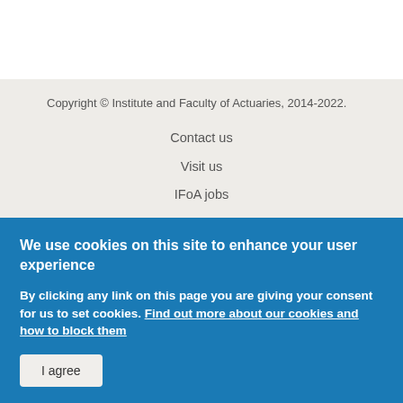Copyright © Institute and Faculty of Actuaries, 2014-2022.
Contact us
Visit us
IFoA jobs
Site map
Cookie policy
Accessibility statement
Terms and Conditions
The Actuar…
We use cookies on this site to enhance your user experience
By clicking any link on this page you are giving your consent for us to set cookies. Find out more about our cookies and how to block them
I agree